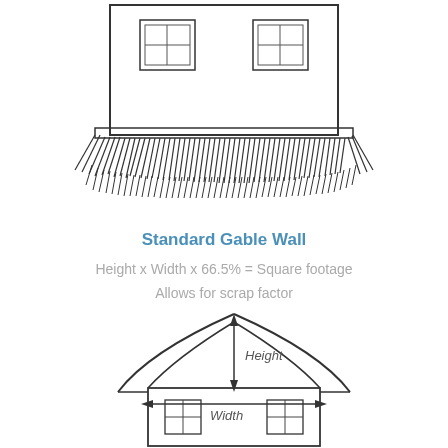[Figure (engineering-diagram): Top portion of a house with two windows and decorative shingle/grass fringe along the bottom edge of the roof line, cropped view]
Standard Gable Wall
Height x Width x 66.5% = Square footage
Allows for scrap factor
[Figure (engineering-diagram): Front elevation diagram of a house with a gambrel/gable roof showing Height and Width dimension arrows. Height arrow runs vertically from eave line to roof peak, Width arrow runs horizontally across the base of the house. Two windows visible on the lower facade.]